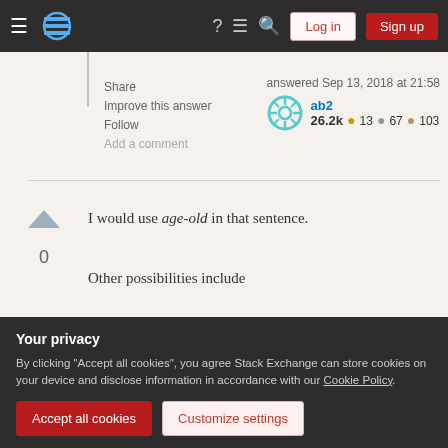Stack Exchange navigation bar with Log in and Sign up buttons
Share
Improve this answer
Follow
Add a comment
answered Sep 13, 2018 at 21:58
ab2
26.2k ●13 ◎67 ◉103
I would use age-old in that sentence.
Other possibilities include
ancient    'having had an existence of many years' as in
Your privacy
By clicking "Accept all cookies", you agree Stack Exchange can store cookies on your device and disclose information in accordance with our Cookie Policy.
Accept all cookies   Customize settings
never felt an ax...